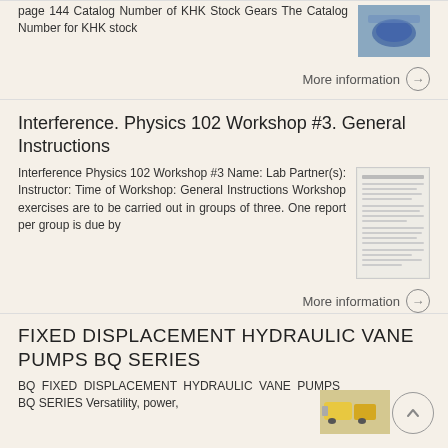page 144 Catalog Number of KHK Stock Gears The Catalog Number for KHK stock
More information →
Interference. Physics 102 Workshop #3. General Instructions
Interference Physics 102 Workshop #3 Name: Lab Partner(s): Instructor: Time of Workshop: General Instructions Workshop exercises are to be carried out in groups of three. One report per group is due by
More information →
FIXED DISPLACEMENT HYDRAULIC VANE PUMPS BQ SERIES
BQ FIXED DISPLACEMENT HYDRAULIC VANE PUMPS BQ SERIES Versatility, power,